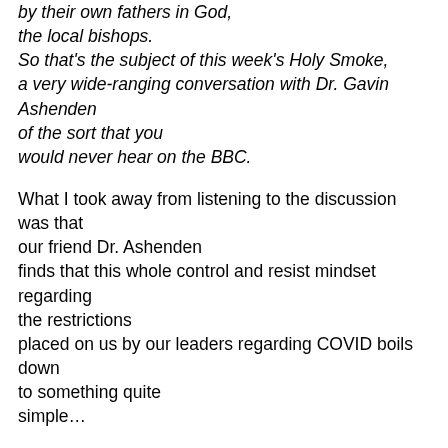by their own fathers in God, the local bishops. So that's the subject of this week's Holy Smoke, a very wide-ranging conversation with Dr. Gavin Ashenden of the sort that you would never hear on the BBC.
What I took away from listening to the discussion was that our friend Dr. Ashenden finds that this whole control and resist mindset regarding the restrictions placed on us by our leaders regarding COVID boils down to something quite simple…
We can go out to eat, we can go to stores, we can get a haircut, we can visit a liquor store, and in limited numbers, we may attend a wedding as well